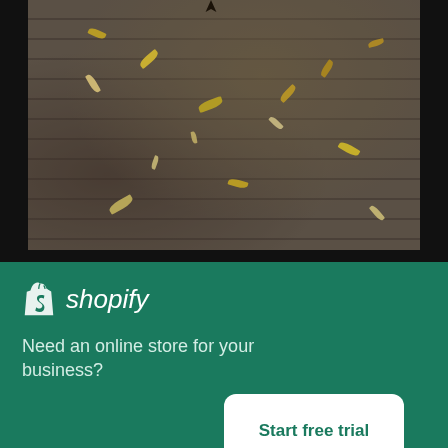[Figure (photo): Wooden deck with scattered autumn leaves (white and yellow), viewed from above. Part of a larger photo showing a little girl in a fancy dress context.]
Little Girl In A Fancy Dress
High resolution download ↓
[Figure (photo): Partial second photo strip showing warm tones, partially obscured.]
× (close button)
[Figure (logo): Shopify logo with bag icon and italic shopify text]
Need an online store for your business?
Start free trial